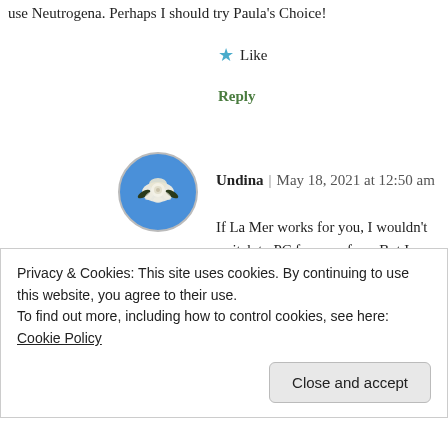use Neutrogena. Perhaps I should try Paula's Choice!
★ Like
Reply
[Figure (photo): Circular avatar image with blue background showing a decorative flower/shell object with dark leaves]
Undina | May 18, 2021 at 12:50 am
If La Mer works for you, I wouldn't switch to PC for your face. But I definitely recommend her body sunscreen: it is very pleasant, absorbs well and doesn't feel greasy.

I also try to stay off the sun in addition to using
Privacy & Cookies: This site uses cookies. By continuing to use this website, you agree to their use.
To find out more, including how to control cookies, see here: Cookie Policy
Close and accept